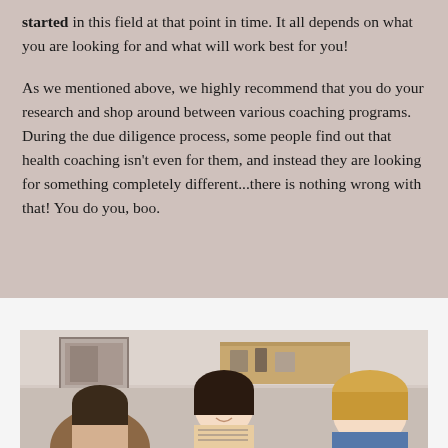started in this field at that point in time. It all depends on what you are looking for and what will work best for you!

As we mentioned above, we highly recommend that you do your research and shop around between various coaching programs. During the due diligence process, some people find out that health coaching isn't even for them, and instead they are looking for something completely different...there is nothing wrong with that! You do you, boo.
[Figure (photo): Photo of three women in a kitchen setting, smiling and working together. One woman with dark hair in the center, a blonde woman on the right wearing a denim jacket, and a third person partially visible on the left.]